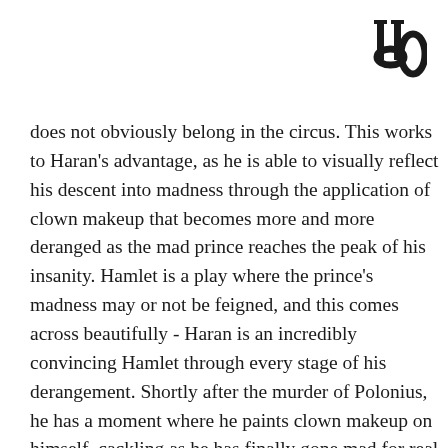[Figure (logo): University/publication logo with stylized 'UO' letters in serif font, black on white]
does not obviously belong in the circus. This works to Haran’s advantage, as he is able to visually reflect his descent into madness through the application of clown makeup that becomes more and more deranged as the mad prince reaches the peak of his insanity. Hamlet is a play where the prince’s madness may or not be feigned, and this comes across beautifully - Haran is an incredibly convincing Hamlet through every stage of his derangement. Shortly after the murder of Polonius, he has a moment where he paints clown makeup on himself, cackling as he has finally gone mad for real. He remains fascinating and endlessly compelling to watch for all three hours and twenty minutes of the play’s runtime. If I had to sum up this show’s Hamlet in one word, that word is “powerhouse” - Ryan Haran has studied the character of Hamlet in what you can tell is the